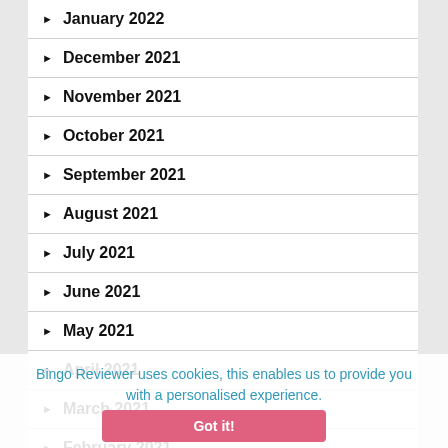January 2022
December 2021
November 2021
October 2021
September 2021
August 2021
July 2021
June 2021
May 2021
April 2021
March 2021
February 2021
January 2021
December 2020
Bingo Reviewer uses cookies, this enables us to provide you with a personalised experience.